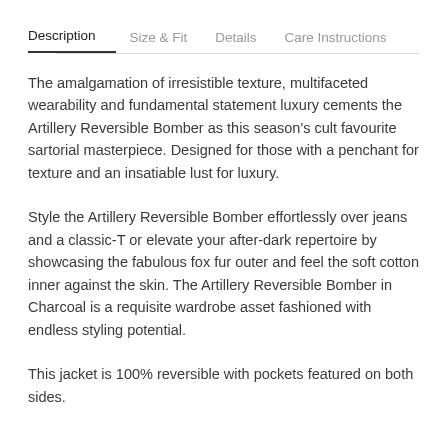Description | Size & Fit | Details | Care Instructions
The amalgamation of irresistible texture, multifaceted wearability and fundamental statement luxury cements the Artillery Reversible Bomber as this season's cult favourite sartorial masterpiece. Designed for those with a penchant for texture and an insatiable lust for luxury.
Style the Artillery Reversible Bomber effortlessly over jeans and a classic-T or elevate your after-dark repertoire by showcasing the fabulous fox fur outer and feel the soft cotton inner against the skin. The Artillery Reversible Bomber in Charcoal is a requisite wardrobe asset fashioned with endless styling potential.
This jacket is 100% reversible with pockets featured on both sides.